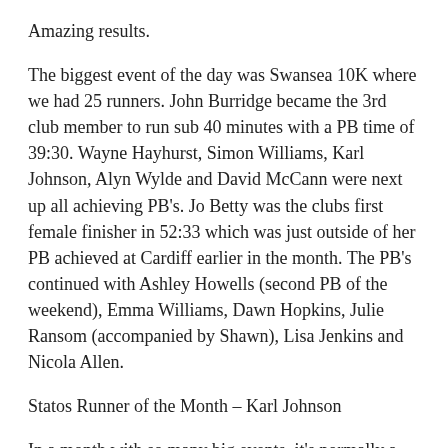Amazing results.
The biggest event of the day was Swansea 10K where we had 25 runners. John Burridge became the 3rd club member to run sub 40 minutes with a PB time of 39:30. Wayne Hayhurst, Simon Williams, Karl Johnson, Alyn Wylde and David McCann were next up all achieving PB's. Jo Betty was the clubs first female finisher in 52:33 which was just outside of her PB achieved at Cardiff earlier in the month. The PB's continued with Ashley Howells (second PB of the weekend), Emma Williams, Dawn Hopkins, Julie Ransom (accompanied by Shawn), Lisa Jenkins and Nicola Allen.
Statos Runner of the Month – Karl Johnson
In a month with so many big events, it's normally a tough decision after trawling through the stats to decide who